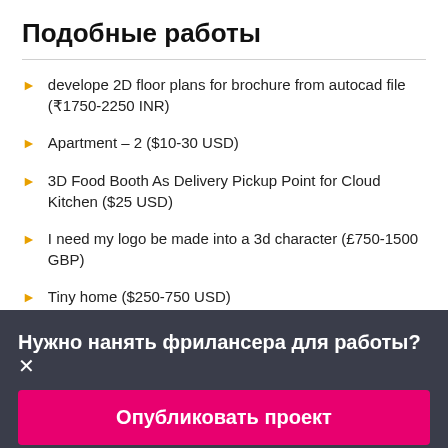Подобные работы
develope 2D floor plans for brochure from autocad file (₹1750-2250 INR)
Apartment – 2 ($10-30 USD)
3D Food Booth As Delivery Pickup Point for Cloud Kitchen ($25 USD)
I need my logo be made into a 3d character (£750-1500 GBP)
Tiny home ($250-750 USD)
Нужно нанять фрилансера для работы?✕
Опубликовать проект